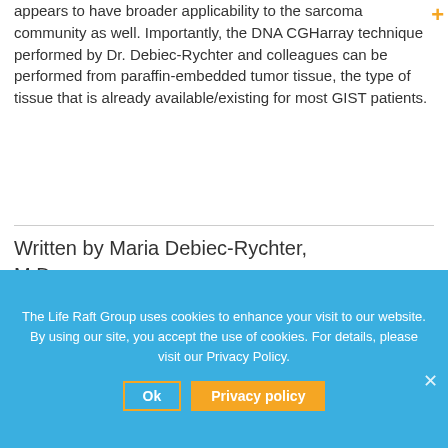appears to have broader applicability to the sarcoma community as well. Importantly, the DNA CGHarray technique performed by Dr. Debiec-Rychter and colleagues can be performed from paraffin-embedded tumor tissue, the type of tissue that is already available/existing for most GIST patients.
Written by Maria Debiec-Rychter, M.D.
Figure 1
The Life Raft Group uses cookies to enhance your visit to our website. By using our site, you accept the use of cookies. For details, please visit our Privacy Policy.